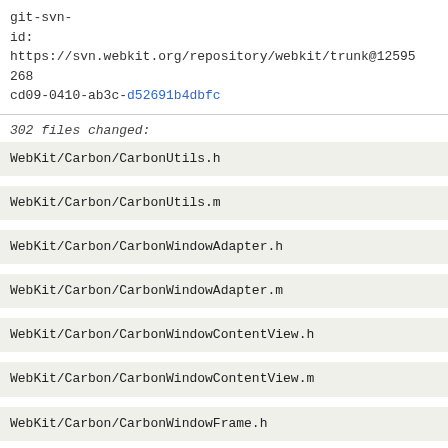git-svn-id: https://svn.webkit.org/repository/webkit/trunk@12595 268cd09-0410-ab3c-d52691b4dbfc
302 files changed:
WebKit/Carbon/CarbonUtils.h
WebKit/Carbon/CarbonUtils.m
WebKit/Carbon/CarbonWindowAdapter.h
WebKit/Carbon/CarbonWindowAdapter.m
WebKit/Carbon/CarbonWindowContentView.h
WebKit/Carbon/CarbonWindowContentView.m
WebKit/Carbon/CarbonWindowFrame.h
WebKit/Carbon/CarbonWindowFrame.m